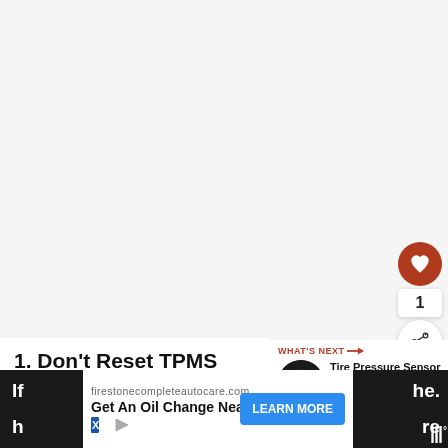[Figure (screenshot): White blank area representing top portion of a webpage]
[Figure (infographic): Social sharing buttons: heart/like button (brown circle with heart icon), count '1', and share button (white circle with share icon)]
1. Don’t Reset TPMS Every Time Warning Light Turns On
[Figure (screenshot): WHAT'S NEXT arrow label with a thumbnail image (dark circular photo) and text: Tire Pressure Sensor Fault...]
[Figure (screenshot): Advertisement banner: firestonecompleteautocare.com - Get An Oil Change Near You - LEARN MORE button, with ad icons X and play triangle]
If                                                                                        he.
h                                                                                         re